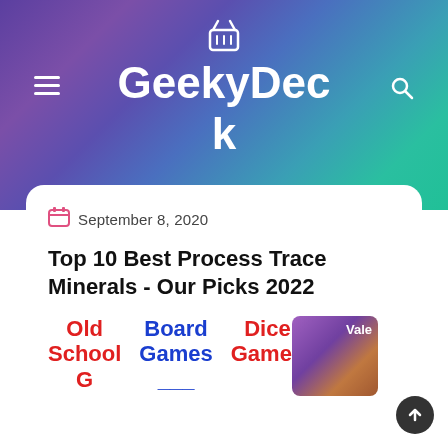GeekyDeck
September 8, 2020
Top 10 Best Process Trace Minerals - Our Picks 2022
Old School | Board Games | Dice Games
[Figure (photo): Thumbnail image partially visible at bottom right of card, showing 'Vale' text overlay]